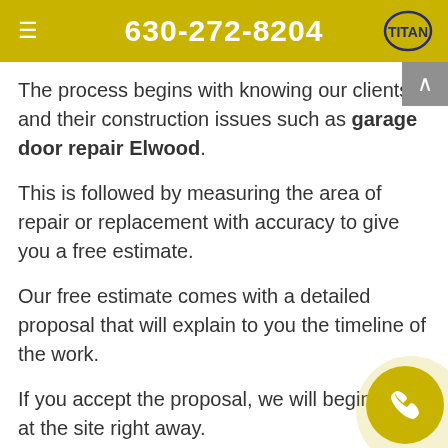630-272-8204
The process begins with knowing our clients and their construction issues such as garage door repair Elwood.
This is followed by measuring the area of repair or replacement with accuracy to give you a free estimate.
Our free estimate comes with a detailed proposal that will explain to you the timeline of the work.
If you accept the proposal, we will begin work at the site right away.